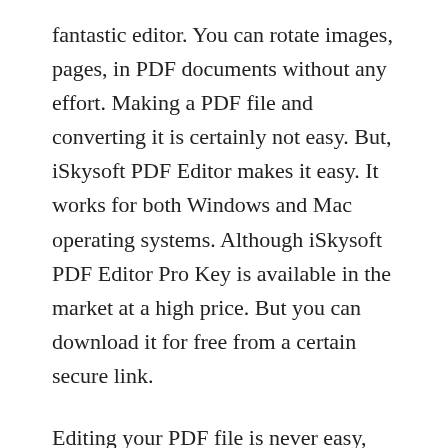fantastic editor. You can rotate images, pages, in PDF documents without any effort. Making a PDF file and converting it is certainly not easy. But, iSkysoft PDF Editor makes it easy. It works for both Windows and Mac operating systems. Although iSkysoft PDF Editor Pro Key is available in the market at a high price. But you can download it for free from a certain secure link.
Editing your PDF file is never easy, but iSkysoft PDF Editor Pro License Key is here to feel free about converting and editing. You can easily edit scanned PDF files and PDF images with just a few clicks. OCR scanned PDF is desired with OCR language. You can extract data from scanned PDF files. iSkysoft PDF Editor Crack is also available for Mac operating systems. Although iSkysoft